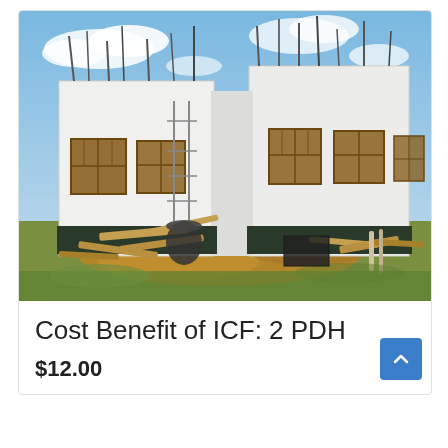[Figure (photo): A two-story building under construction using Insulated Concrete Form (ICF) walls. The white foam-block structure shows open window framing and construction debris in the foreground, with a blue sky in the background.]
Cost Benefit of ICF: 2 PDH
$12.00